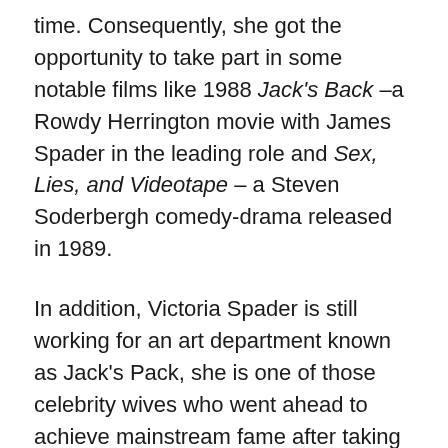time. Consequently, she got the opportunity to take part in some notable films like 1988 Jack's Back –a Rowdy Herrington movie with James Spader in the leading role and Sex, Lies, and Videotape – a Steven Soderbergh comedy-drama released in 1989.
In addition, Victoria Spader is still working for an art department known as Jack's Pack, she is one of those celebrity wives who went ahead to achieve mainstream fame after taking a ride on the wings of their spouse's popularity. She owes her success to hard work and dedication and even before James came into her life, she was already earning a handsome income from her career as a set decorator.